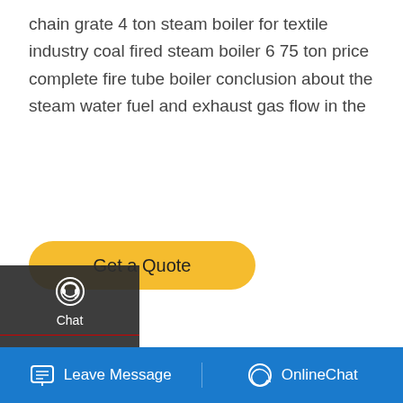chain grate 4 ton steam boiler for textile industry coal fired steam boiler 6 75 ton price complete fire tube boiler conclusion about the steam water fuel and exhaust gas flow in the
[Figure (other): Yellow 'Get a Quote' rounded button]
[Figure (photo): Industrial fire tube steam boiler installed outdoors, with pipes and chimney visible, photographed against a clear sky background]
[Figure (infographic): Dark sidebar with Chat, Email, and Contact icons in white on dark background]
[Figure (screenshot): WhatsApp sticker save popup with phone and smiley icon buttons on purple-blue gradient]
[Figure (infographic): Blue bottom navigation bar with Leave Message and OnlineChat options]